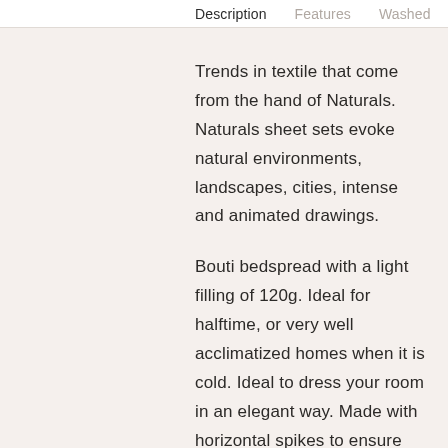Description  Features  Washed
Trends in textile that come from the hand of Naturals. Naturals sheet sets evoke natural environments, landscapes, cities, intense and animated drawings.
Bouti bedspread with a light filling of 120g. Ideal for halftime, or very well acclimatized homes when it is cold. Ideal to dress your room in an elegant way. Made with horizontal spikes to ensure the greatest possible softness without letting its fibers move.
It is made by means of DIGITAL PRINTING, the latest textile marking